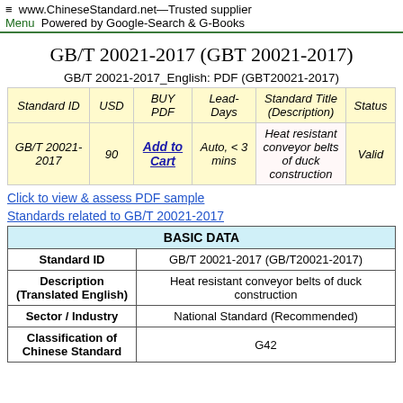≡  www.ChineseStandard.net—Trusted supplier
Menu  Powered by Google-Search & G-Books
GB/T 20021-2017 (GBT 20021-2017)
GB/T 20021-2017_English: PDF (GBT20021-2017)
| Standard ID | USD | BUY PDF | Lead-Days | Standard Title (Description) | Status |
| --- | --- | --- | --- | --- | --- |
| GB/T 20021-2017 | 90 | Add to Cart | Auto, < 3 mins | Heat resistant conveyor belts of duck construction | Valid |
Click to view & assess PDF sample
Standards related to GB/T 20021-2017
| BASIC DATA |
| --- |
| Standard ID | GB/T 20021-2017 (GB/T20021-2017) |
| Description (Translated English) | Heat resistant conveyor belts of duck construction |
| Sector / Industry | National Standard (Recommended) |
| Classification of Chinese Standard | G42 |